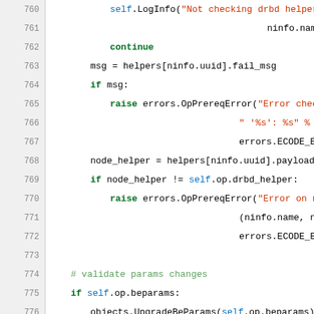[Figure (screenshot): Source code listing (Python) with line numbers 760-784, showing code for checking drbd helper, validating params changes, and handling beparams/ndparams.]